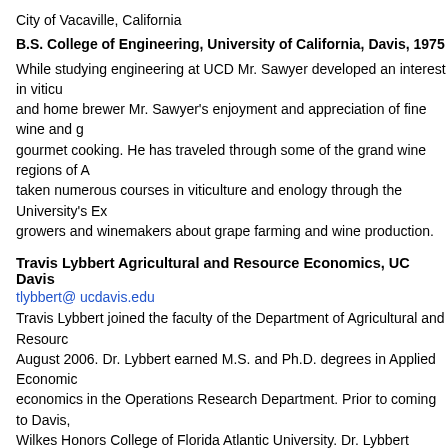City of Vacaville, California
B.S. College of Engineering, University of California, Davis, 1975
While studying engineering at UCD Mr. Sawyer developed an interest in viticu and home brewer Mr. Sawyer’s enjoyment and appreciation of fine wine and g gourmet cooking. He has traveled through some of the grand wine regions of A taken numerous courses in viticulture and enology through the University’s Ex growers and winemakers about grape farming and wine production.
Travis Lybbert Agricultural and Resource Economics, UC Davis
tlybbert@ ucdavis.edu
Travis Lybbert joined the faculty of the Department of Agricultural and Resourc August 2006. Dr. Lybbert earned M.S. and Ph.D. degrees in Applied Economic economics in the Operations Research Department. Prior to coming to Davis, Wilkes Honors College of Florida Atlantic University. Dr. Lybbert conducts rese poverty dynamics, technology, and environment. Often motivated by internatio North Africa, India, and in the Intellectual Property Division of the World Trade Lybbert is assessing drought risk, drought coping and vulnerability in Morocco Kenyan pastoralists; micronutrient supplements and household welfare in Mala literacy in Niger. Dr. Lybbert currently teaches graduate and undergraduate co
Kate Fuller, Agricultural and Resource Economics, UC Davis
fuller@primal.ucdavis.edu
PhD student, Agricultural and Resource Economics, UC Davis